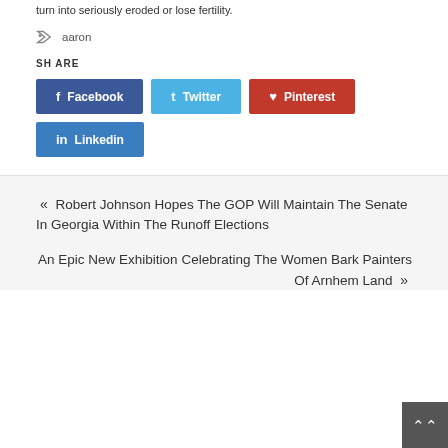turn into seriously eroded or lose fertility.
aaron
SHARE
Facebook
Twitter
Pinterest
Linkedin
« Robert Johnson Hopes The GOP Will Maintain The Senate In Georgia Within The Runoff Elections
An Epic New Exhibition Celebrating The Women Bark Painters Of Arnhem Land »